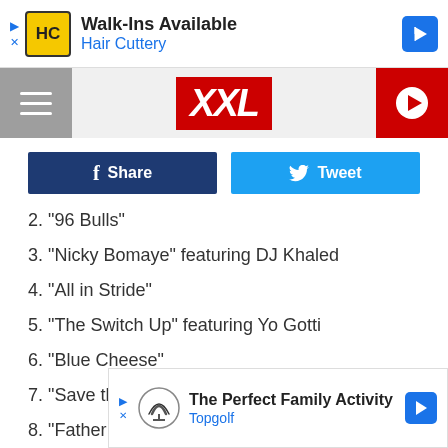[Figure (screenshot): Hair Cuttery advertisement banner at the top]
XXL
[Figure (screenshot): Facebook Share and Twitter Tweet social buttons]
2. "96 Bulls"
3. "Nicky Bomaye" featuring DJ Khaled
4. "All in Stride"
5. "The Switch Up" featuring Yo Gotti
6. "Blue Cheese"
7. "Save the Children"
8. "Father Figure"
9. "The Funeral"
10. "Li...
11. "Ge...
[Figure (screenshot): Topgolf advertisement banner at the bottom]